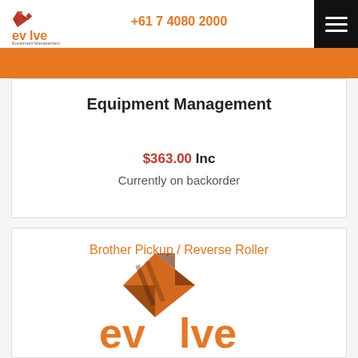[Figure (logo): Evolve Equipment Management logo - orange and brown stylized text with diamond/arrow icon]
+61 7 4080 2000
Equipment Management
$363.00 Inc
Currently on backorder
Brother Pickup / Reverse Roller
[Figure (logo): Evolve Equipment Management logo large version - orange and brown stylized text with diamond/arrow icon]